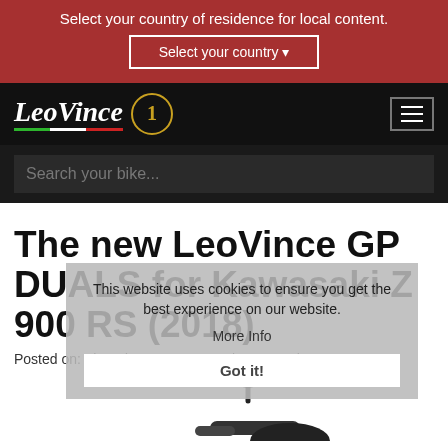Select your country of residence for local content.
Select your country
[Figure (screenshot): LeoVince logo with number 1 badge and hamburger menu icon on black nav bar]
Search your bike...
The new LeoVince GP DUALS for Kawasaki Z 900 RS (2018)
Posted on: Thursday 10 May 2018 | Press Releases
This website uses cookies to ensure you get the best experience on our website.
More Info
Got it!
[Figure (photo): Partial view of motorcycle exhaust system at bottom of page]